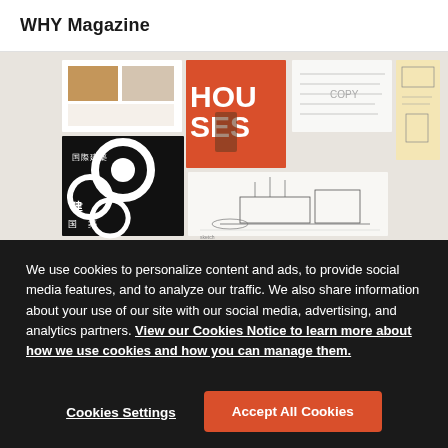WHY Magazine
[Figure (photo): Collage of architectural publications, magazine covers, sketches, and documents. Includes Japanese architecture magazine covers with bold graphic design, a red 'HOUSES' cover, architectural pencil sketches of a modernist building, and handwritten/typed documents on yellow paper.]
We use cookies to personalize content and ads, to provide social media features, and to analyze our traffic. We also share information about your use of our site with our social media, advertising, and analytics partners. View our Cookies Notice to learn more about how we use cookies and how you can manage them.
Cookies Settings
Accept All Cookies